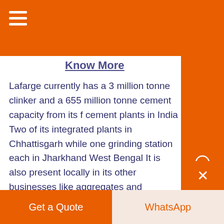Know More
Lafarge currently has a 3 million tonne clinker and a 655 million tonne cement capacity from its f cement plants in India Two of its integrated plants in Chhattisgarh while one grinding station each in Jharkhand West Bengal It is also present locally in its other businesses like aggregates and concrete and gypsum plasterboard...
Get a Quote
WhatsApp